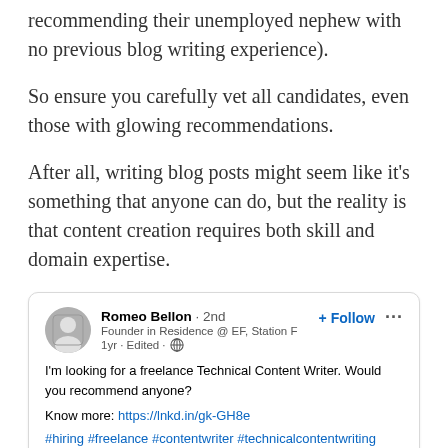recommending their unemployed nephew with no previous blog writing experience).
So ensure you carefully vet all candidates, even those with glowing recommendations.
After all, writing blog posts might seem like it’s something that anyone can do, but the reality is that content creation requires both skill and domain expertise.
[Figure (screenshot): LinkedIn post by Romeo Bellon (2nd, Founder in Residence @ EF, Station F, 1yr · Edited). Post text: I’m looking for a freelance Technical Content Writer. Would you recommend anyone? Know more: https://lnkd.in/gk-GH8e. Hashtags: #hiring #freelance #contentwriter #technicalcontentwriting. Has a + Follow button.]